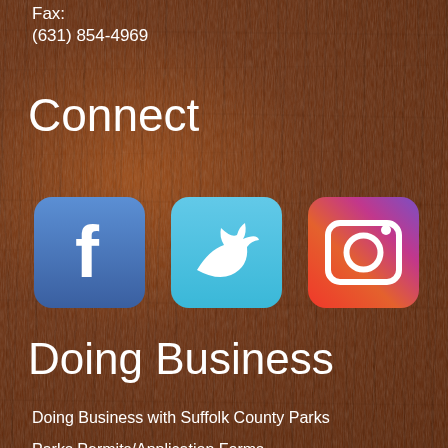Fax:
(631) 854-4969
Connect
[Figure (illustration): Three social media icons: Facebook (blue rounded square with white 'f'), Twitter (light blue rounded square with white bird icon), Instagram (gradient red-orange-purple rounded square with white camera outline)]
Doing Business
Doing Business with Suffolk County Parks
Parks Permits/Application Forms
Bids and Requests for Proposals
Parks Trustees
Showmobile Rentals